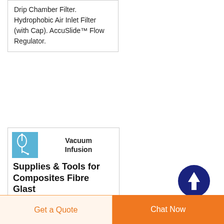Drip Chamber Filter. Hydrophobic Air Inlet Filter (with Cap). AccuSlide™ Flow Regulator.
[Figure (photo): Small blue thumbnail image of vacuum infusion tubing/medical IV set]
Vacuum Infusion Supplies & Tools for Composites Fibre Glast
Vacuum infusion, or resin infusion, has a unique set-up within the vacuum bag. As noted, layers of fabric are secured without the presence of resin. Composite layup is...
[Figure (other): Scroll-to-top button: dark navy circle with white upward arrow]
Get a Quote
Chat Now